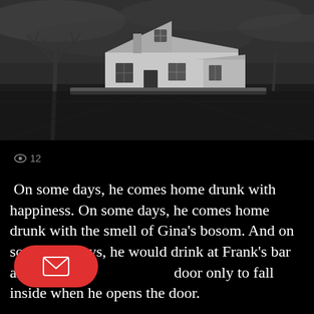[Figure (photo): Black and white photograph of an abandoned farmhouse in a flat, open field with bare leafless trees against a dark cloudy sky.]
👁 12
On some days, he comes home drunk with happiness. On some days, he comes home drunk with the smell of Gina's bosom. And on some rare days, he would drink at Frank's bar and stagger to the door only to fall inside when he opens the door.
[Figure (illustration): Red rounded rectangle button with a white envelope/mail icon in the center.]